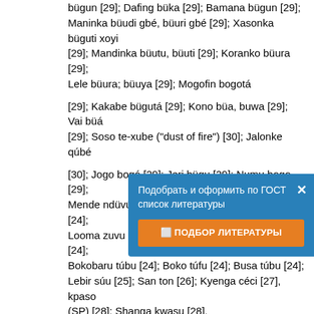bügun [29]; Dafing büka [29]; Bamana bügun [29]; Maninka büudi gbé, büuri gbé [29]; Xasonka büguti xoyi [29]; Mandinka büutu, büuti [29]; Koranko büura [29]; Lele büura; büuya [29]; Mogofin bogotá
[29]; Kakabe bügutá [29]; Kono büa, buwa [29]; Vai büá [29]; Soso te-xube ("dust of fire") [30]; Jalonke qúbé
[30]; Jogo bogó [29]; Jeri bügu [29]; Numu bogo [29]; Mende ndüvú [24]; Loko ndühú [24]; Bandi nduhu [24]; Looma zuvu [24]; Kpelle-L lüü [24]; Kpelle-G luyu [24]; Bokobaru túbu [24]; Boko túfu [24]; Busa túbu [24]; Lebir súu [25]; San ton [26]; Kyenga céci [27], kpaso (SP) [28]; Shanga kwasu [28].
bark: Dan-G k&& [40]; Dan-B kiá [40]; Dan-K kf [40]; Tura kele [40]; Mano kele [40]; Guro pälä [37], köle [40]; Mwan klöö [40]; Wan klóy [40]; Beng kóy [40]; Kpeen góđ-káá [41]; Kp... Duun ka'a [41]; S... [40]; Bobo kiebe... Bozo-T gola [40... kurumi/e [40]; Ma... páa, pará [37]; Bamana fara [37], yomo [43]; Maninka fó-ké [37]... [43]; Xasonka fítu [37]... [43]